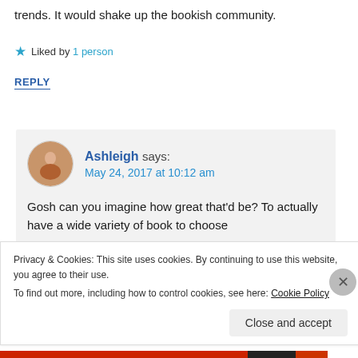trends. It would shake up the bookish community.
★ Liked by 1 person
REPLY
Ashleigh says: May 24, 2017 at 10:12 am
Gosh can you imagine how great that'd be? To actually have a wide variety of book to choose
Privacy & Cookies: This site uses cookies. By continuing to use this website, you agree to their use.
To find out more, including how to control cookies, see here: Cookie Policy
Close and accept